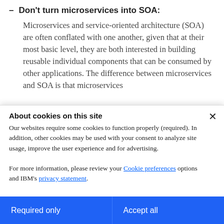Don't turn microservices into SOA: Microservices and service-oriented architecture (SOA) are often conflated with one another, given that at their most basic level, they are both interested in building reusable individual components that can be consumed by other applications. The difference between microservices and SOA is that microservices...
About cookies on this site
Our websites require some cookies to function properly (required). In addition, other cookies may be used with your consent to analyze site usage, improve the user experience and for advertising.

For more information, please review your Cookie preferences options and IBM's privacy statement.
Required only
Accept all